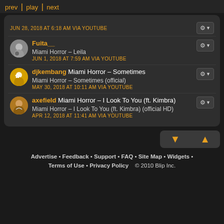prev | play | next
JUN 28, 2018 AT 6:18 AM VIA YOUTUBE
Fuita__ Miami Horror – Leila JUN 1, 2018 AT 7:59 AM VIA YOUTUBE
djkembang Miami Horror – Sometimes Miami Horror – Sometimes (official) MAY 30, 2018 AT 10:11 AM VIA YOUTUBE
axefield Miami Horror – I Look To You (ft. Kimbra) Miami Horror – I Look To You (ft. Kimbra) (official HD) APR 12, 2018 AT 11:41 AM VIA YOUTUBE
Advertise • Feedback • Support • FAQ • Site Map • Widgets • Terms of Use • Privacy Policy   © 2010 Blip Inc.